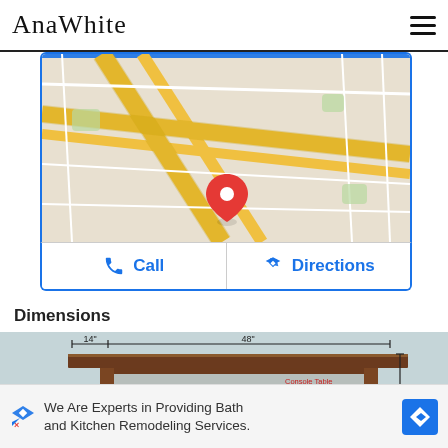AnaWhite
[Figure (map): Google Maps view showing road intersections with a red location pin marker in the center]
[Figure (other): Call and Directions buttons with phone and directions icons]
Dimensions
[Figure (engineering-diagram): Technical drawing of a wooden console table showing dimensions: 14 inch depth, 48 inch width, 30 inch height. Watermark text reads: Console Table, Inspired by Pottery Barn, Knock Off Wood, knockoffwood.blogspot.com]
[Figure (other): Advertisement banner: We Are Experts in Providing Bath and Kitchen Remodeling Services. With a directions icon on the right.]